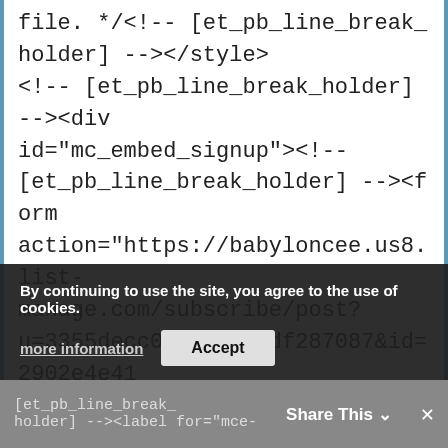file. */<!-- [et_pb_line_break_holder] --></style>
<!-- [et_pb_line_break_holder] --><div id="mc_embed_signup"><!-- [et_pb_line_break_holder] --><form action="https://babyloncee.us8.list-manage.com/subscribe/post?u=3355decc0982d598fdf287087&id=2902e4e411" method="post" id="mc-embedded-subscribe-form" name="mc-embedded-subscribe-form" class="validate" target="_blank" novalidate><!-- [et_pb_line_break_holder] --><div id="mc_embed_signup_... [et_pb_line_break_holder] --><label for="mce-
By continuing to use the site, you agree to the use of cookies.
more information
Accept
[et_pb_line_break_holder] --><label for="mce-
Share This